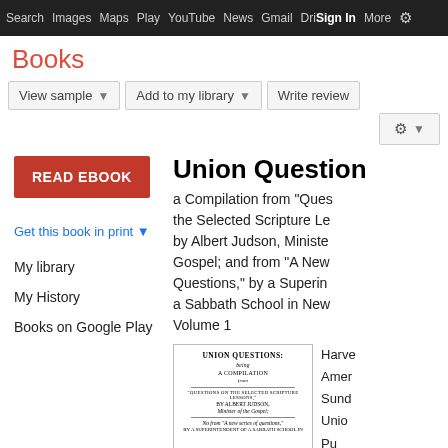Search  Images  Maps  Play  YouTube  News  Gmail  Drive  More  Sign In  [settings]
Books
View sample ▼   Add to my library ▼   Write review
READ EBOOK
Get this book in print ▼
My library
My History
Books on Google Play
Union Question
a Compilation from "Questions on the Selected Scripture Lessons," by Albert Judson, Minister of the Gospel; and from "A New Series of Questions," by a Superintendent of a Sabbath School in New..., Volume 1
[Figure (illustration): Book cover image of 'Union Questions: A Compilation from the Selected Scripture Lessons by Albert Judson']
Harve...
Amer...
Sund...
Union...